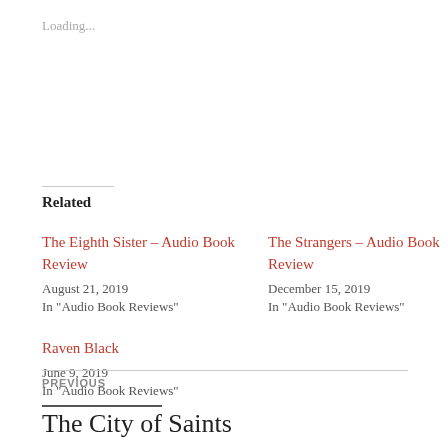Loading...
Related
The Eighth Sister – Audio Book Review
August 21, 2019
In "Audio Book Reviews"
The Strangers – Audio Book Review
December 15, 2019
In "Audio Book Reviews"
Raven Black
June 9, 2019
In "Audio Book Reviews"
PREVIOUS
The City of Saints